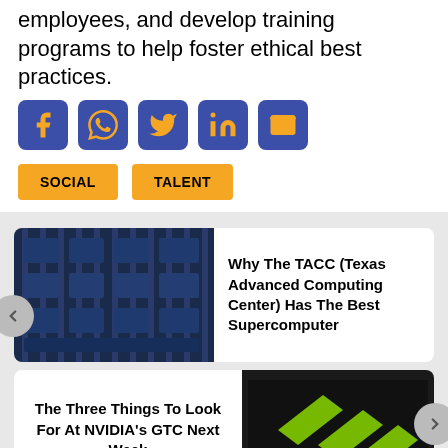employees, and develop training programs to help foster ethical best practices.
[Figure (infographic): Row of 5 social media share icons: Facebook, WhatsApp, Twitter, LinkedIn, Email - dark blue rounded square buttons with orange icons]
SOCIAL
TALENT
[Figure (screenshot): Carousel widget showing two article cards. Top card: supercomputer building image on left, title 'Why The TACC (Texas Advanced Computing Center) Has The Best Supercomputer' on right. Bottom card: title 'The Three Things To Look For At NVIDIA's GTC Next Week' on left, NVIDIA logo on dark background on right. Left arrow nav button visible on top card, right arrow nav button visible on bottom card.]